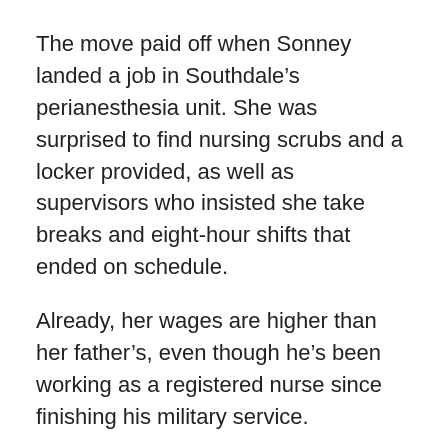The move paid off when Sonney landed a job in Southdale’s perianesthesia unit. She was surprised to find nursing scrubs and a locker provided, as well as supervisors who insisted she take breaks and eight-hour shifts that ended on schedule.
Already, her wages are higher than her father’s, even though he’s been working as a registered nurse since finishing his military service.
For Sonney, the choice between working in a strong union state like Minnesota or a Right to Work state like Wisconsin is an easy one.
“There’s no advocacy in Wisconsin anymore, whether you’re a nurse or someone else,” she said. “When I get to work, I want to know I’m going to be at least somewhat